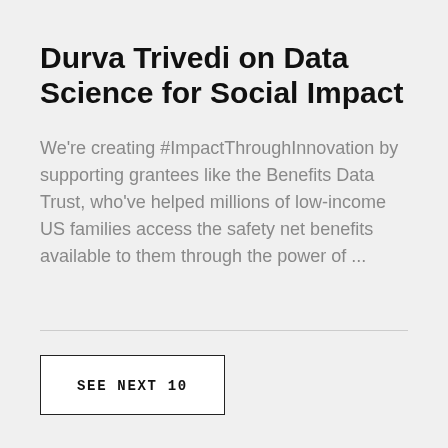Durva Trivedi on Data Science for Social Impact
We're creating #ImpactThroughInnovation by supporting grantees like the Benefits Data Trust, who've helped millions of low-income US families access the safety net benefits available to them through the power of ...
SEE NEXT 10